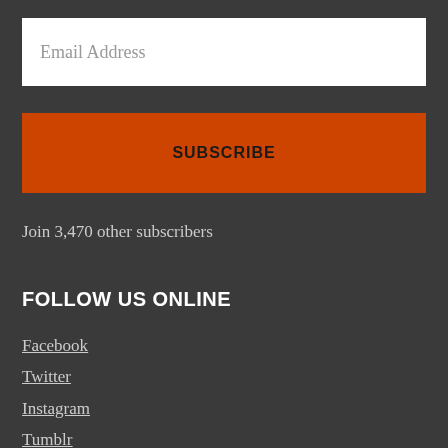Email Address
SUBSCRIBE
Join 3,470 other subscribers
FOLLOW US ONLINE
Facebook
Twitter
Instagram
Tumblr
YouTube